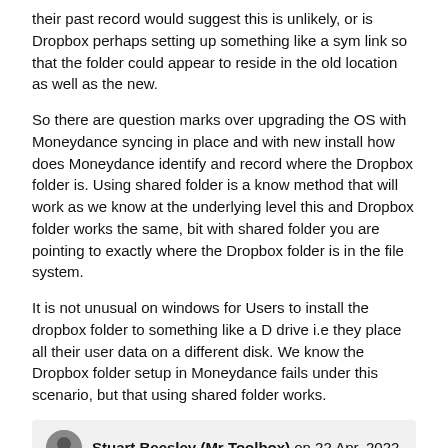their past record would suggest this is unlikely, or is Dropbox perhaps setting up something like a sym link so that the folder could appear to reside in the old location as well as the new.
So there are question marks over upgrading the OS with Moneydance syncing in place and with new install how does Moneydance identify and record where the Dropbox folder is. Using shared folder is a know method that will work as we know at the underlying level this and Dropbox folder works the same, bit with shared folder you are pointing to exactly where the Dropbox folder is in the file system.
It is not unusual on windows for Users to install the dropbox folder to something like a D drive i.e they place all their user data on a different disk. We know the Dropbox folder setup in Moneydance fails under this scenario, but that using shared folder works.
Stuart Beesley (Mr Toolbox) on 22 Apr, 2022
06:38 AM
In MD a shared folder has its party stored within the dataset. But the Dropbox folder path is hard coded in the code. Easy for the developer to change in future tho'